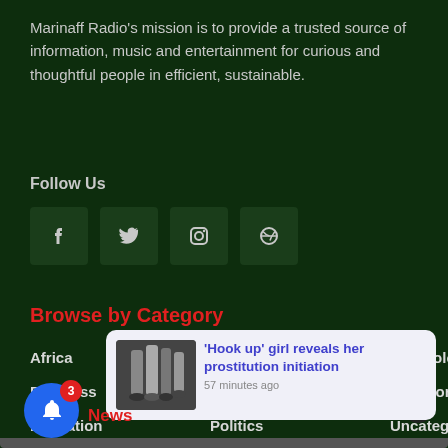Marinaff Radio's mission is to provide a trusted source of information, music and entertainment for curious and thoughtful people in efficient, sustainable.
Follow Us
[Figure (infographic): Four social media icon buttons: Facebook, Twitter, Instagram, Dribbble on dark green background]
Browse by Category
Africa
Local News
Technology
Business
News
Top Story
Education
Politics
Uncategorized
Health
Showbiz
World News
Lifestyle
[Figure (screenshot): Notification popup showing 'Hook up' girl reveals her prostitution initiation, 57 minutes ago, with thumbnail image of women's legs]
Breaking News